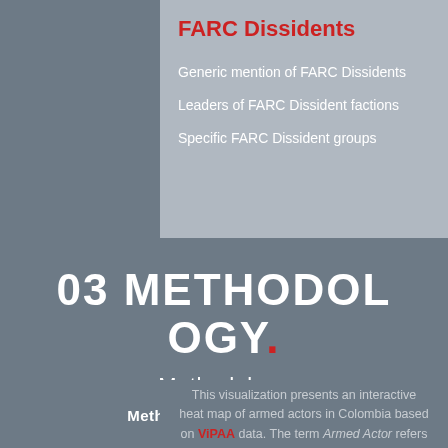FARC Dissidents
Generic mention of FARC Dissidents
Leaders of FARC Dissident factions
Specific FARC Dissident groups
03 METHODOLOGY.
Methodology
Methodological Summary
This visualization presents an interactive heat map of armed actors in Colombia based on ViPAA data. The term Armed Actor refers to state and non-state armed